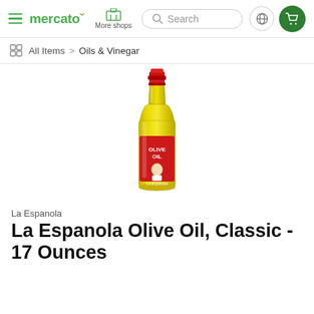mercato — More shops — Search — navigation icons
All Items > Oils & Vinegar
[Figure (photo): La Espanola Olive Oil Classic glass bottle with red cap and label, containing golden olive oil]
La Espanola
La Espanola Olive Oil, Classic - 17 Ounces